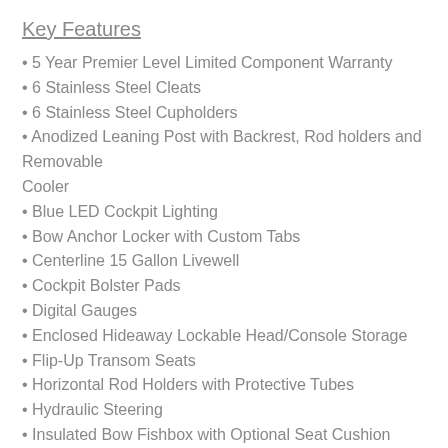Key Features
5 Year Premier Level Limited Component Warranty
6 Stainless Steel Cleats
6 Stainless Steel Cupholders
Anodized Leaning Post with Backrest, Rod holders and Removable Cooler
Blue LED Cockpit Lighting
Bow Anchor Locker with Custom Tabs
Centerline 15 Gallon Livewell
Cockpit Bolster Pads
Digital Gauges
Enclosed Hideaway Lockable Head/Console Storage
Flip-Up Transom Seats
Horizontal Rod Holders with Protective Tubes
Hydraulic Steering
Insulated Bow Fishbox with Optional Seat Cushion
Kevlar Reinforced Hull